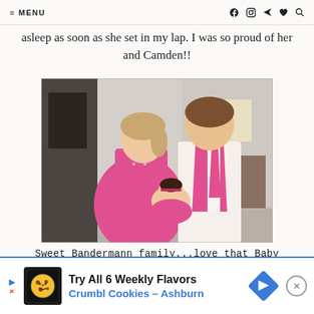≡ MENU    f  ⊙  ➤  ♥  🔍
asleep as soon as she set in my lap. I was so proud of her and Camden!!
[Figure (photo): A young couple dressed in formal pink attire holding a baby. The woman wears a pink strapless dress, the man wears a pink vest and tie over a white shirt. The baby is dressed in pink.]
Sweet Bandermann family...love that Baby Brynn!!
[Figure (screenshot): Advertisement banner for Crumbl Cookies - Ashburn. 'Try All 6 Weekly Flavors'. Shows cookie logo, blue diamond arrow icon, and close button.]